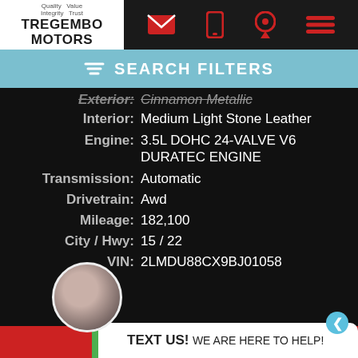[Figure (logo): Tregembo Motors logo with tagline: Quality Value Integrity Trust]
SEARCH FILTERS
| Field | Value |
| --- | --- |
| Exterior: | Cinnamon Metallic |
| Interior: | Medium Light Stone Leather |
| Engine: | 3.5L DOHC 24-VALVE V6 DURATEC ENGINE |
| Transmission: | Automatic |
| Drivetrain: | Awd |
| Mileage: | 182,100 |
| City / Hwy: | 15 / 22 |
| VIN: | 2LMDU88CX9BJ01058 |
| Warranty: | Limited Warranty |
| Stock: | J01058 |
TEXT US! WE ARE HERE TO HELP!